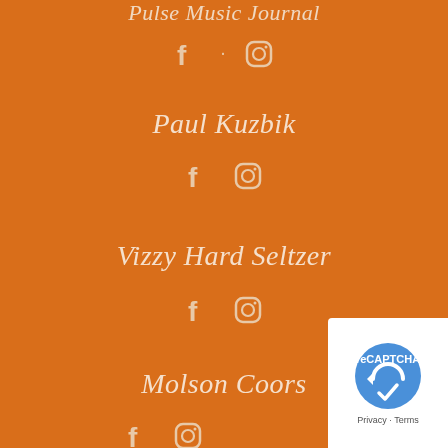Pulse Music Journal
[Figure (infographic): Facebook and Instagram social media icons in light beige/cream color on orange background]
Paul Kuzbik
[Figure (infographic): Facebook and Instagram social media icons in light beige/cream color on orange background]
Vizzy Hard Seltzer
[Figure (infographic): Facebook and Instagram social media icons in light beige/cream color on orange background]
Molson Coors
[Figure (infographic): Facebook and Instagram social media icons in light beige/cream color on orange background]
[Figure (other): reCAPTCHA privacy badge in bottom right corner with logo, Privacy and Terms text]